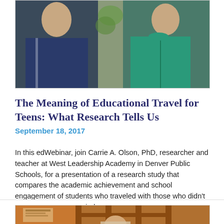[Figure (photo): Two teenagers wearing winter jackets (one dark blue, one teal/green) photographed outdoors in autumn]
The Meaning of Educational Travel for Teens: What Research Tells Us
September 18, 2017
In this edWebinar, join Carrie A. Olson, PhD, researcher and teacher at West Leadership Academy in Denver Public Schools, for a presentation of a research study that compares the academic achievement and school engagement of students who traveled with those who didn't over a seven-year period.
[Figure (photo): Partial photo of a person in a classroom or school setting, partially cut off at bottom of page]